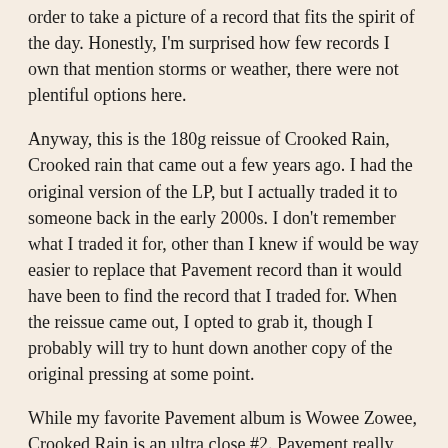order to take a picture of a record that fits the spirit of the day. Honestly, I'm surprised how few records I own that mention storms or weather, there were not plentiful options here.
Anyway, this is the 180g reissue of Crooked Rain, Crooked rain that came out a few years ago. I had the original version of the LP, but I actually traded it to someone back in the early 2000s. I don't remember what I traded it for, other than I knew if would be way easier to replace that Pavement record than it would have been to find the record that I traded for. When the reissue came out, I opted to grab it, though I probably will try to hunt down another copy of the original pressing at some point.
While my favorite Pavement album is Wowee Zowee, Crooked Rain is an ultra close #2. Pavement really define that poppy, wacky indie rock of the 90s that I just love so much. While I never saw them play a good show (and I gave them ample chances to do so, but always left disappointed), few bands can touch Pavement on record. If you don't have this record in your collection, that is a problem you should fix right away.
Pavement - Range Life: